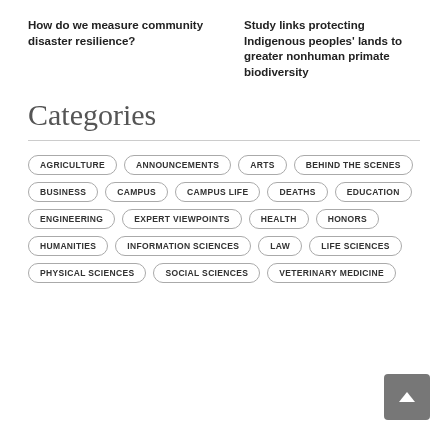How do we measure community disaster resilience?
Study links protecting Indigenous peoples' lands to greater nonhuman primate biodiversity
Categories
AGRICULTURE
ANNOUNCEMENTS
ARTS
BEHIND THE SCENES
BUSINESS
CAMPUS
CAMPUS LIFE
DEATHS
EDUCATION
ENGINEERING
EXPERT VIEWPOINTS
HEALTH
HONORS
HUMANITIES
INFORMATION SCIENCES
LAW
LIFE SCIENCES
PHYSICAL SCIENCES
SOCIAL SCIENCES
VETERINARY MEDICINE